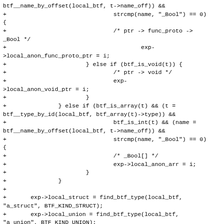btf__name_by_offset(local_btf, t->name_off)) &&
+                               strcmp(name, "_Bool") == 0)
{
+                               /* ptr -> func_proto ->
_Bool */
+                                       exp-
>local_anon_func_proto_ptr = i;
+                       } else if (btf_is_void(t)) {
+                               /* ptr -> void */
+                               exp-
>local_anon_void_ptr = i;
+                       }
+               } else if (btf_is_array(t) && (t =
btf__type_by_id(local_btf, btf_array(t)->type)) &&
+                               btf_is_int(t) && (name =
btf__name_by_offset(local_btf, t->name_off)) &&
+                               strcmp(name, "_Bool") == 0)
{
+                               /* _Bool[] */
+                               exp->local_anon_arr = i;
+                       }
+               }
+
+       exp->local_struct = find_btf_type(local_btf,
"a_struct", BTF_KIND_STRUCT);
+       exp->local_union = find_btf_type(local_btf,
"a_union", BTF_KIND_UNION);
+       exp->local_enum = find_btf_type(local_btf,
"an_enum", BTF_KIND_ENUM);
+       exp->local_int = find_btf_type(local_btf,
"int", BTF_KIND_INT);